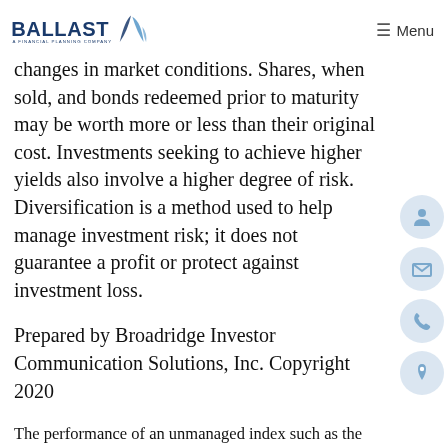BALLAST A FINANCIAL PLANNING COMPANY — Menu
changes in market conditions. Shares, when sold, and bonds redeemed prior to maturity may be worth more or less than their original cost. Investments seeking to achieve higher yields also involve a higher degree of risk. Diversification is a method used to help manage investment risk; it does not guarantee a profit or protect against investment loss.
Prepared by Broadridge Investor Communication Solutions, Inc. Copyright 2020
The performance of an unmanaged index such as the S&P